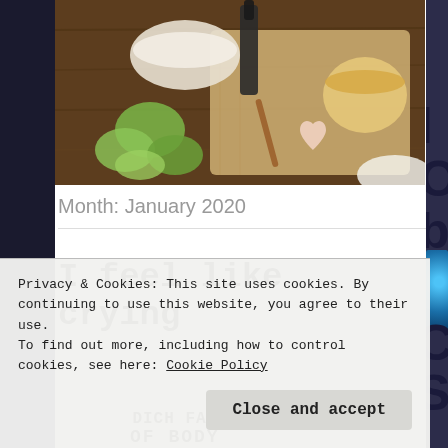[Figure (photo): Overhead view of food items on a wooden cutting board — sliced green apples, a bowl, a bottle, a cup of liquid (tea or broth), and a small heart-shaped object, rustic wooden table background.]
Month: January 2020
I feel like crying
[Figure (photo): Partially visible article image with a light beige/grey background placeholder.]
Privacy & Cookies: This site uses cookies. By continuing to use this website, you agree to their use.
To find out more, including how to control cookies, see here: Cookie Policy
Close and accept